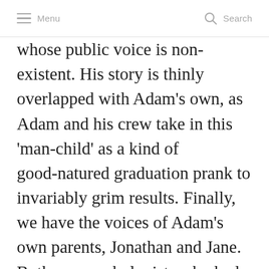≡  Menu  🔍  Search
whose public voice is non-existent. His story is thinly overlapped with Adam's own, as Adam and his crew take in this 'man-child' as a kind of good-natured graduation prank to invariably grim results. Finally, we have the voices of Adam's own parents, Jonathan and Jane. Both are psychologists who had arrived in Topeka for their postdocs at The Foundation, a world-famous psychiatric institute and hospital, both assuming they'd stay for two years before learning they were staying for a lot longer. In their respective first-person sections, we hear their intellectual origin stories of sorts. In his chapters, Jonathan explores a drug trip while gaping at Duccio's Madonna and Child; his home movies; a Herman Hesse story called 'A Man by the Name of